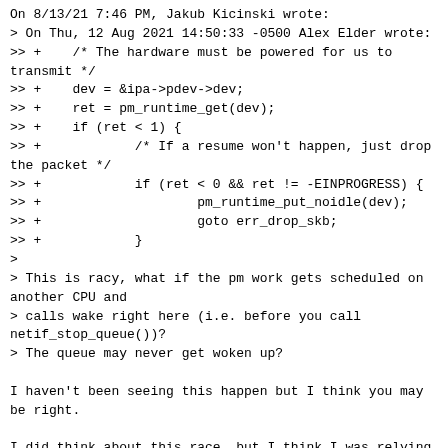On 8/13/21 7:46 PM, Jakub Kicinski wrote:
> On Thu, 12 Aug 2021 14:50:33 -0500 Alex Elder wrote:
>> +    /* The hardware must be powered for us to transmit */
>> +    dev = &ipa->pdev->dev;
>> +    ret = pm_runtime_get(dev);
>> +    if (ret < 1) {
>> +            /* If a resume won't happen, just drop the packet */
>> +            if (ret < 0 && ret != -EINPROGRESS) {
>> +                    pm_runtime_put_noidle(dev);
>> +                    goto err_drop_skb;
>> +            }
>
> This is racy, what if the pm work gets scheduled on another CPU and
> calls wake right here (i.e. before you call netif_stop_queue())?
> The queue may never get woken up?

I haven't been seeing this happen but I think you may be right.

I did think about this race, but I think I was relying on the
PM work queue to somehow avoid the problem.  I need to think
about this again after a good night's sleep.  I might need
to add an atomic flag or something.